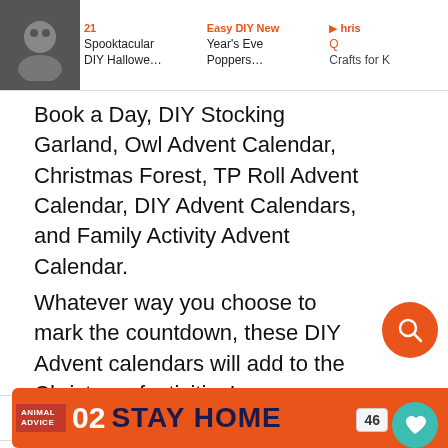[Figure (screenshot): Top navigation bar showing thumbnail image and article links: 'Spooktacular DIY Hallowe...', 'Year's Eve Poppers...', 'Crafts for K...' with orange arrow and search icon]
Book a Day, DIY Stocking Garland, Owl Advent Calendar, Christmas Forest, TP Roll Advent Calendar, DIY Advent Calendars, and Family Activity Advent Calendar.
Whatever way you choose to mark the countdown, these DIY Advent calendars will add to the Christmas festivities!
SEE ALSO
[Figure (screenshot): Ad banner: 'ANIMAL ADVICE 02 STAY HOME @rohandahotre' in orange and dark blue with illustrations and close button]